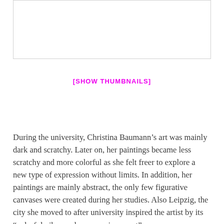[Figure (other): White rectangular image/artwork placeholder with a light grey border]
[SHOW THUMBNAILS]
During the university, Christina Baumann’s art was mainly dark and scratchy. Later on, her paintings became less scratchy and more colorful as she felt freer to explore a new type of expression without limits. In addition, her paintings are mainly abstract, the only few figurative canvases were created during her studies. Also Leipzig, the city she moved to after university inspired the artist by its “colorful vibes and open environment”.